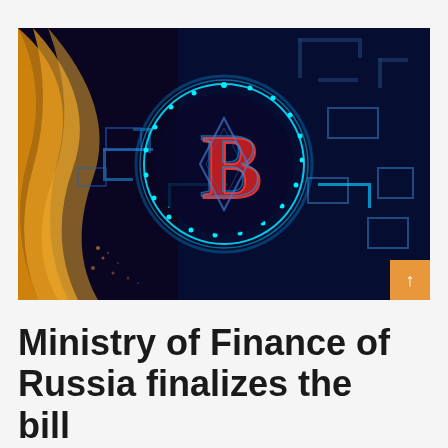[Figure (illustration): Digital illustration of a glowing neon Bitcoin symbol (letter B in a circle with stars) set against a dark background with blue circuit board patterns and golden/orange wave effects on the left side. The image has a futuristic, cyberpunk aesthetic.]
Ministry of Finance of Russia finalizes the bill